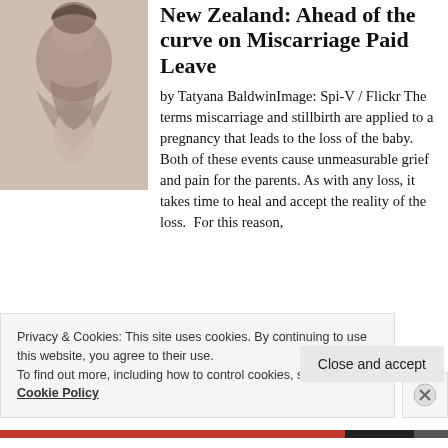[Figure (photo): A person holding or cradling a baby, muted/warm tones, indoor setting]
New Zealand: Ahead of the curve on Miscarriage Paid Leave
by Tatyana BaldwinImage: Spi-V / Flickr The terms miscarriage and stillbirth are applied to a pregnancy that leads to the loss of the baby. Both of these events cause unmeasurable grief and pain for the parents. As with any loss, it takes time to heal and accept the reality of the loss. For this reason,
Privacy & Cookies: This site uses cookies. By continuing to use this website, you agree to their use.
To find out more, including how to control cookies, see here: Cookie Policy
Close and accept